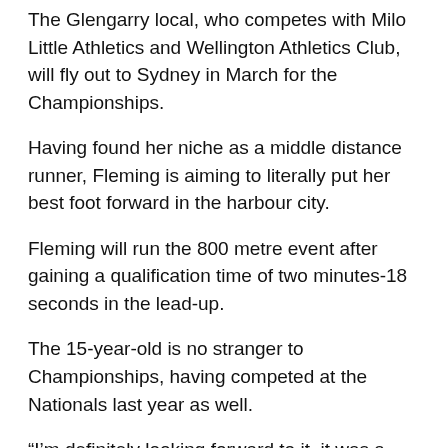The Glengarry local, who competes with Milo Little Athletics and Wellington Athletics Club, will fly out to Sydney in March for the Championships.
Having found her niche as a middle distance runner, Fleming is aiming to literally put her best foot forward in the harbour city.
Fleming will run the 800 metre event after gaining a qualification time of two minutes-18 seconds in the lead-up.
The 15-year-old is no stranger to Championships, having competed at the Nationals last year as well.
“I’m definitely looking forward to it, it was a great experience at the start of last year, now that I’m a bit comfortable there (at Championships) it will be really great to try it again,” she said.